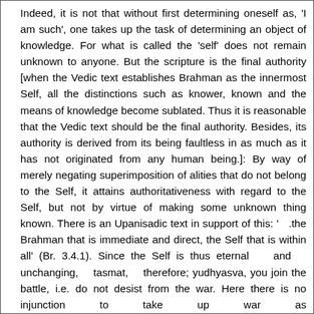Indeed, it is not that without first determining oneself as, 'I am such', one takes up the task of determining an object of knowledge. For what is called the 'self' does not remain unknown to anyone. But the scripture is the final authority [when the Vedic text establishes Brahman as the innermost Self, all the distinctions such as knower, known and the means of knowledge become sublated. Thus it is reasonable that the Vedic text should be the final authority. Besides, its authority is derived from its being faultless in as much as it has not originated from any human being.]: By way of merely negating superimposition of alities that do not belong to the Self, it attains authoritativeness with regard to the Self, but not by virtue of making some unknown thing known. There is an Upanisadic text in support of this: '   .the Brahman that is immediate and direct, the Self that is within all' (Br. 3.4.1). Since the Self is thus eternal and unchanging, tasmat, therefore; yudhyasva, you join the battle, i.e. do not desist from the war. Here there is no injunction to take up war as a duty, because, he (Arjuna), though he was